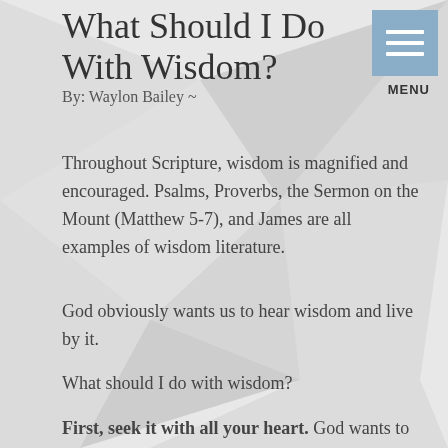What Should I Do With Wisdom?
By: Waylon Bailey ~
Throughout Scripture, wisdom is magnified and encouraged. Psalms, Proverbs, the Sermon on the Mount (Matthew 5-7), and James are all examples of wisdom literature.
God obviously wants us to hear wisdom and live by it.
What should I do with wisdom?
First, seek it with all your heart. God wants to give